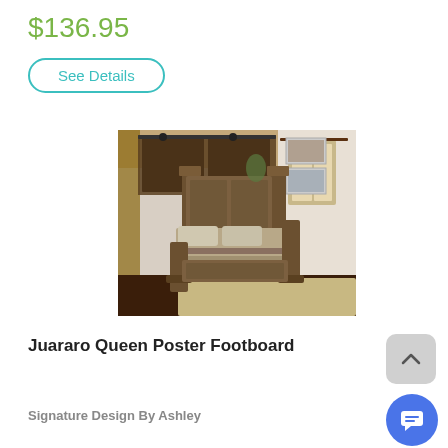$136.95
See Details
[Figure (photo): Juararo Queen Poster Footboard bedroom furniture, a large dark wood poster bed with tall posts and footboard panels, shown in a styled bedroom with barn door, area rug, and framed art on wall.]
Juararo Queen Poster Footboard
Signature Design By Ashley